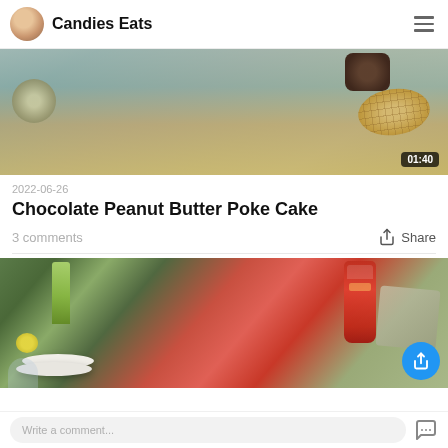Candies Eats
[Figure (photo): Food photo showing baked goods including a muffin or cake portion, dark crumble/brownie, and a peanut butter cookie on a wooden surface. Video duration badge showing 01:40.]
2022-06-26
Chocolate Peanut Butter Poke Cake
3 comments
Share
[Figure (photo): Food photo showing plates stacked, a lemon wedge in a glass, a Sriracha bottle, green drink, and other items on a table with a cloth.]